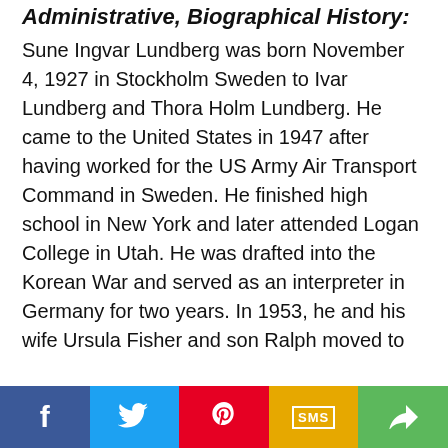Administrative, Biographical History:
Sune Ingvar Lundberg was born November 4, 1927 in Stockholm Sweden to Ivar Lundberg and Thora Holm Lundberg. He came to the United States in 1947 after having worked for the US Army Air Transport Command in Sweden. He finished high school in New York and later attended Logan College in Utah. He was drafted into the Korean War and served as an interpreter in Germany for two years. In 1953, he and his wife Ursula Fisher and son Ralph moved to Sweden. He worked for Gulf Oil in Stockholm and attended Handelshögskolan from which he graduated in 1956. While in Sweden, Lundberg started